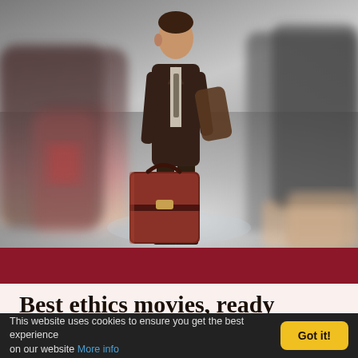[Figure (photo): A man in a dark suit standing in a busy public space (airport or train station), holding a large brown leather suitcase and a coat over his arm, surrounded by blurred motion of other people passing by.]
Best ethics movies, ready for debate?
This website uses cookies to ensure you get the best experience on our website More info